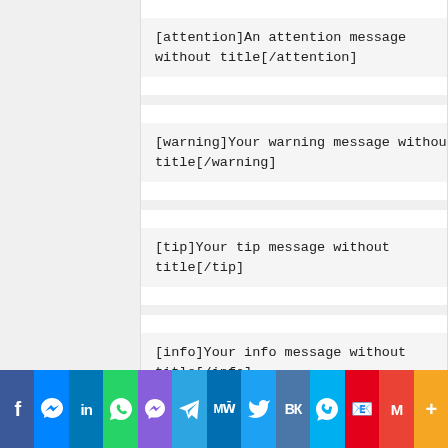[attention]An attention message without title[/attention]
[warning]Your warning message without title[/warning]
[tip]Your tip message without title[/tip]
[info]Your info message without title[/info]